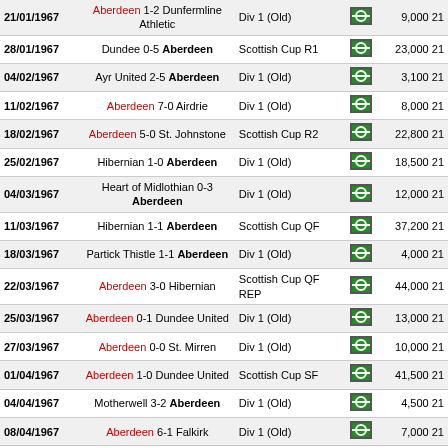| Date | Match | Competition | Icon | Attendance |
| --- | --- | --- | --- | --- |
| 21/01/1967 | Aberdeen 1-2 Dunfermline Athletic | Div 1 (Old) |  | 9,000 21 |
| 28/01/1967 | Dundee 0-5 Aberdeen | Scottish Cup R1 |  | 23,000 21 |
| 04/02/1967 | Ayr United 2-5 Aberdeen | Div 1 (Old) |  | 3,100 21 |
| 11/02/1967 | Aberdeen 7-0 Airdrie | Div 1 (Old) |  | 8,000 21 |
| 18/02/1967 | Aberdeen 5-0 St. Johnstone | Scottish Cup R2 |  | 22,800 21 |
| 25/02/1967 | Hibernian 1-0 Aberdeen | Div 1 (Old) |  | 18,500 21 |
| 04/03/1967 | Heart of Midlothian 0-3 Aberdeen | Div 1 (Old) |  | 12,000 21 |
| 11/03/1967 | Hibernian 1-1 Aberdeen | Scottish Cup QF |  | 37,200 21 |
| 18/03/1967 | Partick Thistle 1-1 Aberdeen | Div 1 (Old) |  | 4,000 21 |
| 22/03/1967 | Aberdeen 3-0 Hibernian | Scottish Cup QF REP |  | 44,000 21 |
| 25/03/1967 | Aberdeen 0-1 Dundee United | Div 1 (Old) |  | 13,000 21 |
| 27/03/1967 | Aberdeen 0-0 St. Mirren | Div 1 (Old) |  | 10,000 21 |
| 01/04/1967 | Aberdeen 1-0 Dundee United | Scottish Cup SF |  | 41,500 21 |
| 04/04/1967 | Motherwell 3-2 Aberdeen | Div 1 (Old) |  | 4,500 21 |
| 08/04/1967 | Aberdeen 6-1 Falkirk | Div 1 (Old) |  | 7,000 21 |
| 15/04/1967 | Aberdeen 1-0 Stirling Albion | Div 1 (Old) |  | 7,500 21 |
| 19/04/1967 | Celtic 0-0 Aberdeen | Div 1 (Old) |  | 33,000 21 |